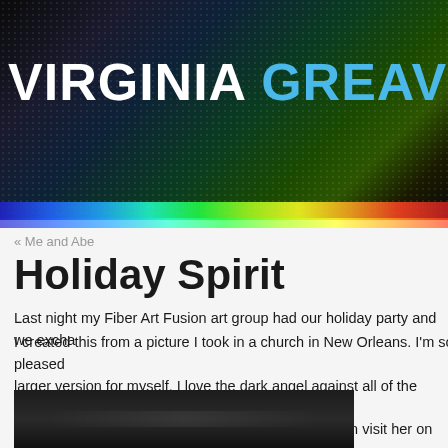VIRGINIA GREAVES | texti
[Figure (screenshot): Website navigation bar with menu items: Home, People, Animals, Abstract, Small W, Contact]
« Me and Abe
Holiday Spirit
Last night my Fiber Art Fusion art group had our holiday party and we excha
I created this from a picture I took in a church in New Orleans. I'm so pleased larger version for myself. I love the dark angel against all of the ironwork. My this home. She is an incredible silk painter — you can visit her on her websit
[Figure (photo): Dark photograph showing what appears to be a textile or fiber art piece]